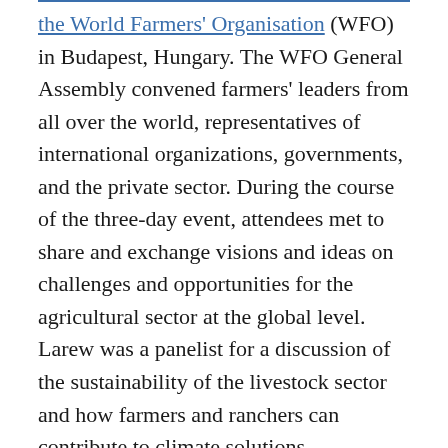the World Farmers' Organisation (WFO) in Budapest, Hungary. The WFO General Assembly convened farmers' leaders from all over the world, representatives of international organizations, governments, and the private sector. During the course of the three-day event, attendees met to share and exchange visions and ideas on challenges and opportunities for the agricultural sector at the global level.
Larew was a panelist for a discussion of the sustainability of the livestock sector and how farmers and ranchers can contribute to climate solutions.